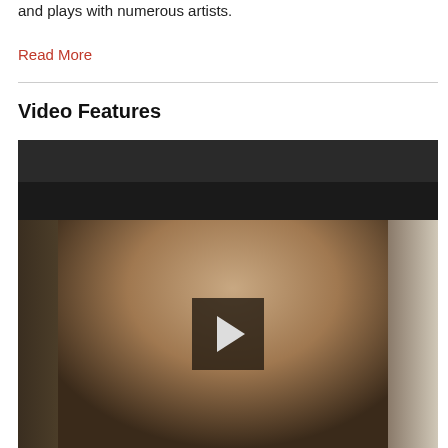and plays with numerous artists.
Read More
Video Features
[Figure (photo): Video player showing an older man with grey hair seated in front of a bookshelf with books. A play button overlay is visible in the center of the video thumbnail.]